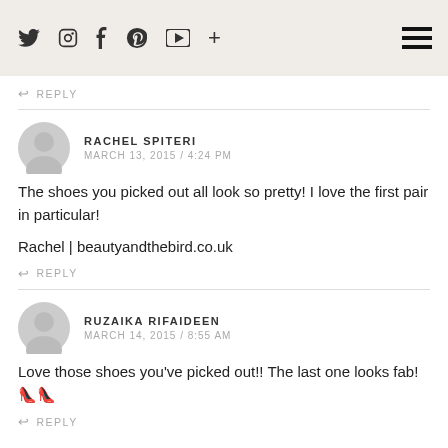Twitter Instagram Facebook Pinterest YouTube + [hamburger menu]
↩ REPLY
RACHEL SPITERI
MARCH 13, 2015 / 4:24 PM
The shoes you picked out all look so pretty! I love the first pair in particular!

Rachel | beautyandthebird.co.uk
↩ REPLY
RUZAIKA RIFAIDEEN
MARCH 14, 2015 / 8:55 AM
Love those shoes you've picked out!! The last one looks fab! 👠👠
↩ REPLY